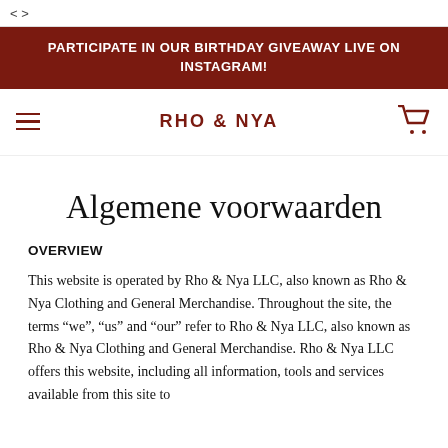< >
PARTICIPATE IN OUR BIRTHDAY GIVEAWAY LIVE ON INSTAGRAM!
RHO & NYA
Algemene voorwaarden
OVERVIEW
This website is operated by Rho & Nya LLC, also known as Rho & Nya Clothing and General Merchandise. Throughout the site, the terms “we”, “us” and “our” refer to Rho & Nya LLC, also known as Rho & Nya Clothing and General Merchandise. Rho & Nya LLC offers this website, including all information, tools and services available from this site to